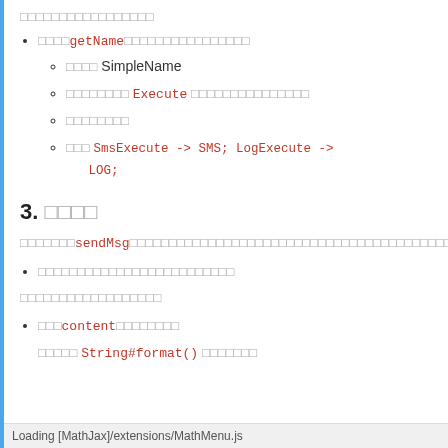□□□□□□□□□□□□□□□□□
□□□□getName□□□□□□□□□□□□□□□□
□□□□ SimpleName
□□□□□□□□ Execute □□□□□□□□□□□□□□□
□□□□□□□□
□□□ SmsExecute -> SMS; LogExecute -> LOG;
3. □□□□
□□□□□□□sendMsg□□□□□□□□□□□□□□□□□□□□□□□□□□□□□□□□□□□□□□□□□□□□□□□□□□□:
□□□□□□□□□□□□□□□□□□□□□□□□□
□□□□□□□□□□□□□□□□□□
□□□content□□□□□□□□
□□□□□ String#format() □□□□□□□
Loading [MathJax]/extensions/MathMenu.js